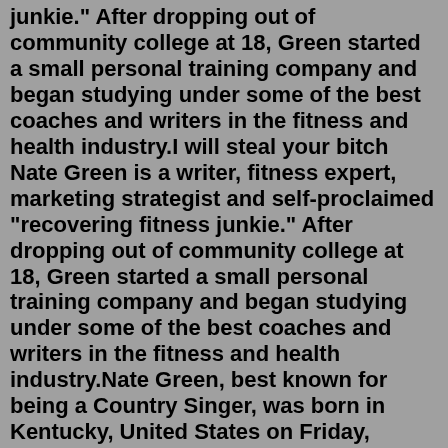junkie." After dropping out of community college at 18, Green started a small personal training company and began studying under some of the best coaches and writers in the fitness and health industry.I will steal your bitch Nate Green is a writer, fitness expert, marketing strategist and self-proclaimed "recovering fitness junkie." After dropping out of community college at 18, Green started a small personal training company and began studying under some of the best coaches and writers in the fitness and health industry.Nate Green, best known for being a Country Singer, was born in Kentucky, United States on Friday, August 26, 1988. Known for singles such as “Back Road” and “Wild and Free,” this up-and-coming country music singer released a debut EP titled Road Map. According to Field Yates of ESPN, the Packers were awarded tight end Nate Becker off of waivers from the Carolina Panthers. Becker (6-5, 264) was an undrafted free agent out of Miami (OH) in 2019.Nate Green. Nate Green is the program director for Scrawny To Brawny. He’s the author of